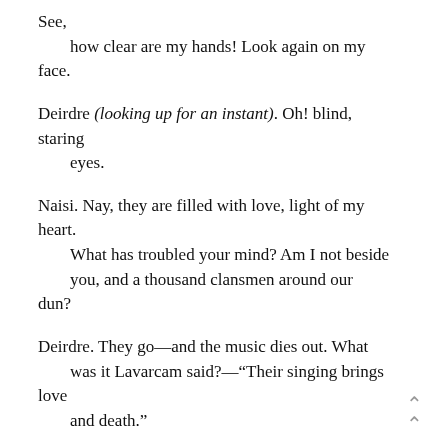See,
    how clear are my hands! Look again on my face.
Deirdre (looking up for an instant). Oh! blind, staring
    eyes.
Naisi. Nay, they are filled with love, light of my heart.
    What has troubled your mind? Am I not beside you, and a thousand clansmen around our dun?
Deirdre. They go—and the music dies out. What was it Lavarcam said?—"Their singing brings love
    and death."